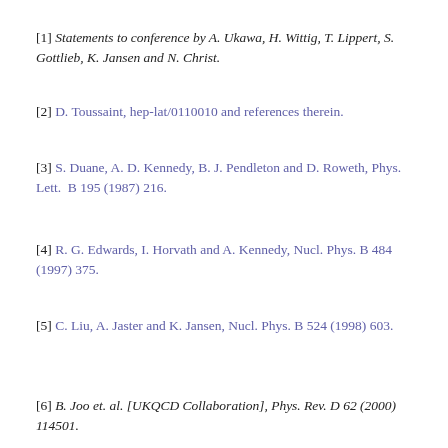[1] Statements to conference by A. Ukawa, H. Wittig, T. Lippert, S. Gottlieb, K. Jansen and N. Christ.
[2] D. Toussaint, hep-lat/0110010 and references therein.
[3] S. Duane, A. D. Kennedy, B. J. Pendleton and D. Roweth, Phys. Lett.  B 195 (1987) 216.
[4] R. G. Edwards, I. Horvath and A. Kennedy, Nucl. Phys. B 484 (1997) 375.
[5] C. Liu, A. Jaster and K. Jansen, Nucl. Phys. B 524 (1998) 603.
[6] B. Joo et. al. [UKQCD Collaboration], Phys. Rev. D 62 (2000) 114501.